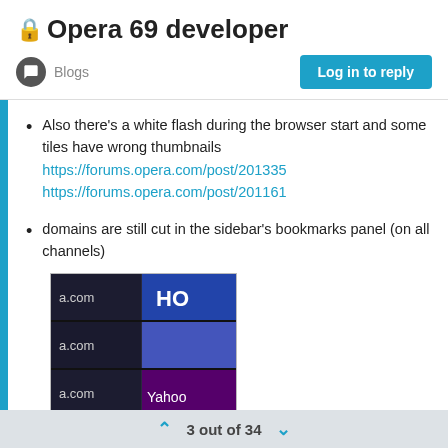🔒Opera 69 developer
Blogs
Log in to reply
Also there's a white flash during the browser start and some tiles have wrong thumbnails https://forums.opera.com/post/201335 https://forums.opera.com/post/201161
domains are still cut in the sidebar's bookmarks panel (on all channels)
[Figure (screenshot): Screenshot of Opera browser sidebar bookmarks panel showing cut domain names like 'a.com' on left and browser thumbnails including 'HO' and 'Yahoo' on the right, with dark background.]
3 out of 34